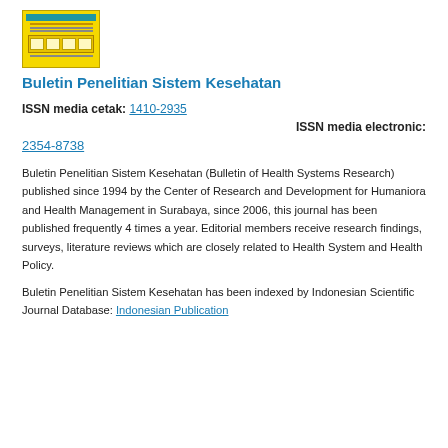[Figure (illustration): Journal cover thumbnail with yellow background and teal header bar]
Buletin Penelitian Sistem Kesehatan
ISSN media cetak: 1410-2935
ISSN media electronic: 2354-8738
Buletin Penelitian Sistem Kesehatan (Bulletin of Health Systems Research) published since 1994 by the Center of Research and Development for Humaniora and Health Management in Surabaya, since 2006, this journal has been published frequently 4 times a year. Editorial members receive research findings, surveys, literature reviews which are closely related to Health System and Health Policy.
Buletin Penelitian Sistem Kesehatan has been indexed by Indonesian Scientific Journal Database: Indonesian Publication